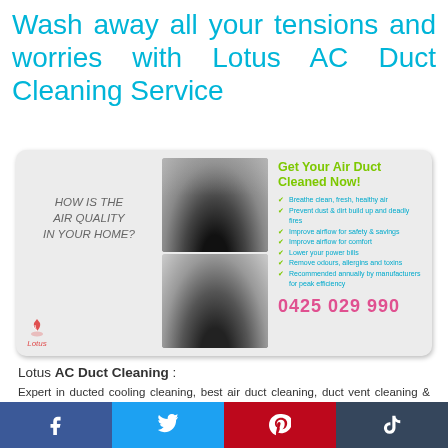Wash away all your tensions and worries with Lotus AC Duct Cleaning Service
[Figure (infographic): Lotus AC Duct Cleaning advertisement showing before/after duct images, checklist of benefits, phone number 0425 029 990, and 'How is the air quality in your home?' question with Lotus logo.]
Lotus AC Duct Cleaning :
Expert in ducted cooling cleaning, best air duct cleaning, duct vent cleaning & Central Duct Cleaning Ringwood East. Our technicians are fully trained and qualified to maintain residential, office and industrial AC duct
[Figure (infographic): Social media share bar with Facebook, Twitter, Pinterest, and Tumblr buttons]